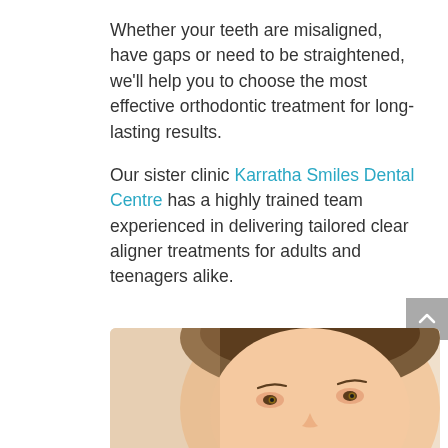Whether your teeth are misaligned, have gaps or need to be straightened, we'll help you to choose the most effective orthodontic treatment for long-lasting results.
Our sister clinic Karratha Smiles Dental Centre has a highly trained team experienced in delivering tailored clear aligner treatments for adults and teenagers alike.
[Figure (photo): Close-up photo of a young woman's face with short brown hair, looking slightly upward, against a light beige background.]